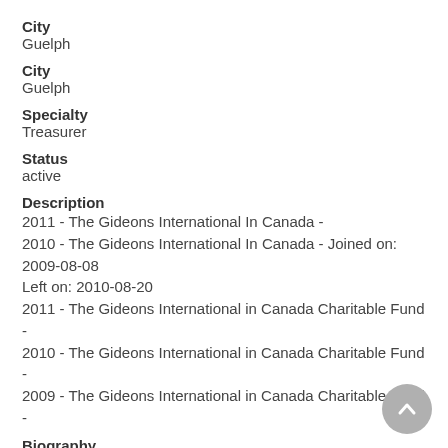City
Guelph
City
Guelph
Specialty
Treasurer
Status
active
Description
2011 - The Gideons International In Canada -
2010 - The Gideons International In Canada - Joined on: 2009-08-08
Left on: 2010-08-20
2011 - The Gideons International in Canada Charitable Fund -
2010 - The Gideons International in Canada Charitable Fund -
2009 - The Gideons International in Canada Charitable Fund -
Biography
2011 - The Gideons International In Canada - position: treasurer - Arm's Length: yes